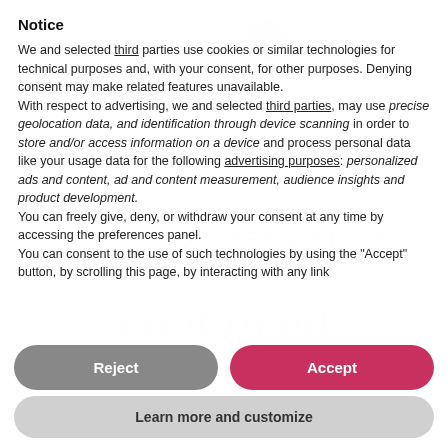Notice
We and selected third parties use cookies or similar technologies for technical purposes and, with your consent, for other purposes. Denying consent may make related features unavailable. With respect to advertising, we and selected third parties, may use precise geolocation data, and identification through device scanning in order to store and/or access information on a device and process personal data like your usage data for the following advertising purposes: personalized ads and content, ad and content measurement, audience insights and product development. You can freely give, deny, or withdraw your consent at any time by accessing the preferences panel. You can consent to the use of such technologies by using the “Accept” button, by scrolling this page, by interacting with any link
Reject
Accept
Learn more and customize